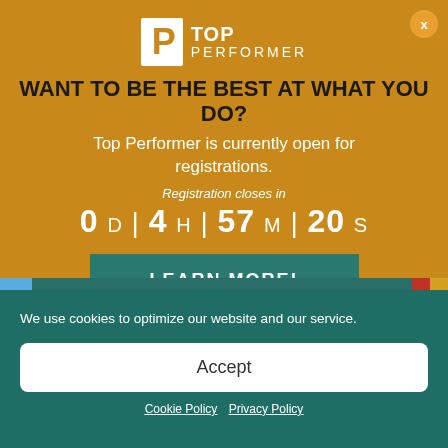[Figure (logo): Top Performer logo with stylized P and text 'TOP PERFORMER']
WANT TO BE THE BEST AT WHAT YOU DO?
Top Performer is currently open for registrations.
Registration closes in
0 D | 4 H | 57 M | 20 S
LEARN MORE!
We use cookies to optimize our website and our service.
Accept
Cookie Policy  Privacy Policy